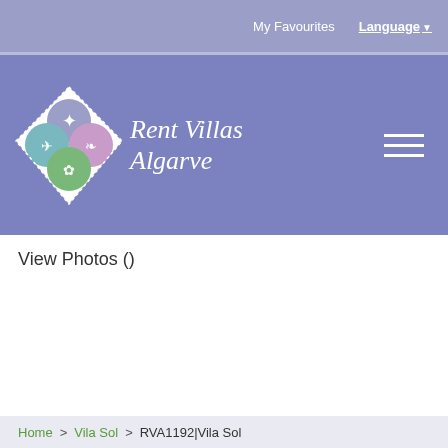My Favourites  Language
[Figure (logo): Rent Villas Algarve logo — diamond shape with colored quadrant circles and script text]
View Photos ()
Home > Vila Sol > RVA1192|Vila Sol